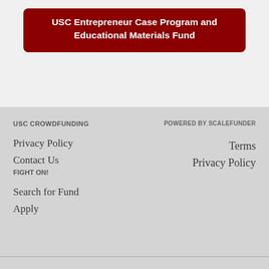USC Entrepreneur Case Program and Educational Materials Fund
USC CROWDFUNDING
Privacy Policy
Contact Us
FIGHT ON!
Search for Fund
Apply
POWERED BY SCALEFUNDER
Terms
Privacy Policy